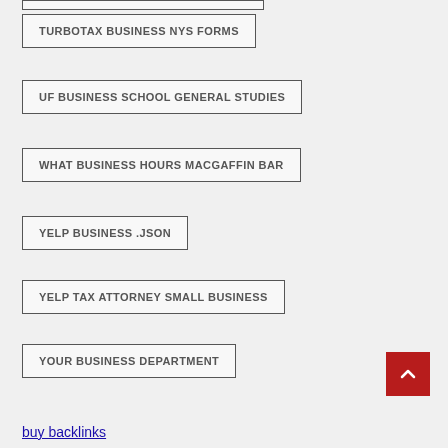TURBOTAX BUSINESS NYS FORMS
UF BUSINESS SCHOOL GENERAL STUDIES
WHAT BUSINESS HOURS MACGAFFIN BAR
YELP BUSINESS .JSON
YELP TAX ATTORNEY SMALL BUSINESS
YOUR BUSINESS DEPARTMENT
ZEUS PANDA BUSINESS MOEL
buy backlinks